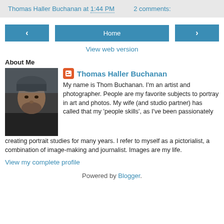Thomas Haller Buchanan at 1:44 PM   2 comments:
< Home >
View web version
About Me
[Figure (photo): Profile photo of Thomas Haller Buchanan — a man with a beard wearing a dark cap and jacket]
Thomas Haller Buchanan
My name is Thom Buchanan. I'm an artist and photographer. People are my favorite subjects to portray in art and photos. My wife (and studio partner) has called that my 'people skills', as I've been passionately creating portrait studies for many years. I refer to myself as a pictorialist, a combination of image-making and journalist. Images are my life.
View my complete profile
Powered by Blogger.